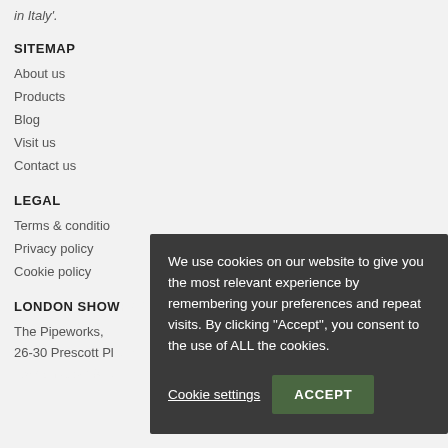in Italy'.
SITEMAP
About us
Products
Blog
Visit us
Contact us
LEGAL
Terms & conditions
Privacy policy
Cookie policy
LONDON SHOW
The Pipeworks,
26-30 Prescott Pl
We use cookies on our website to give you the most relevant experience by remembering your preferences and repeat visits. By clicking “Accept”, you consent to the use of ALL the cookies.
Cookie settings
ACCEPT